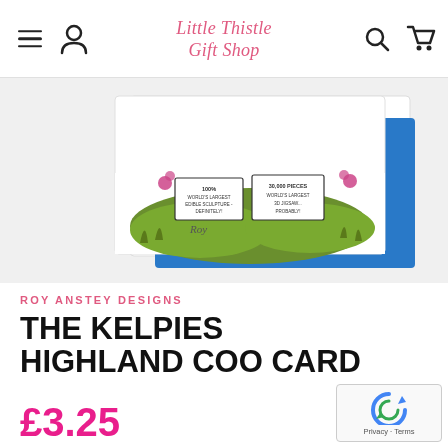Little Thistle Gift Shop — navigation bar with menu, account, search, cart icons
[Figure (photo): Product photo of a greeting card with Highland Coo / Kelpies design, showing signs reading '100% recycled', 'World's Largest Jigsaw', '30,000 pieces', with green grass and thistles, displayed with a blue envelope]
ROY ANSTEY DESIGNS
THE KELPIES HIGHLAND COO CARD
£3.25